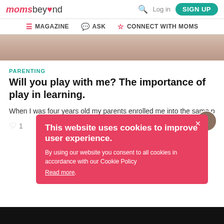moms beyond — Log in — SIGN UP — MAGAZINE — ASK — CONNECT WITH MOMS
[Figure (photo): Partial view of a child with a red backpack, article hero image cropped at top]
PARENTING
Will you play with me? The importance of play in learning.
When I was four years old my parents enrolled me into the same p
This website uses cookies to improve user experience. By using our website you consent to all cookies in accordance with our Cookie Policy Read more.
[Figure (photo): Dark bottom image strip]